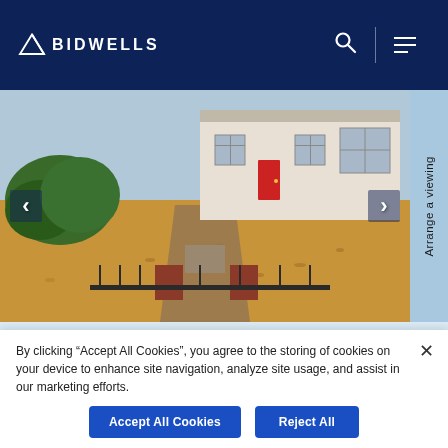BIDWELLS
[Figure (photo): Exterior photo of a residential property with a red door, gravel front garden with ornamental ironwork gate and brick pillars, with green shrubbery.]
Arrange a viewing
By clicking “Accept All Cookies”, you agree to the storing of cookies on your device to enhance site navigation, analyze site usage, and assist in our marketing efforts.
Accept All Cookies
Reject All